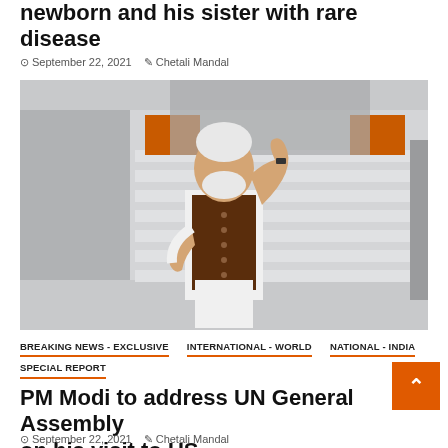newborn and his sister with rare disease
September 22, 2021  Chetali Mandal
[Figure (photo): A man in a brown vest and white kurta waving while descending aircraft stairs, with orange door panels visible in the background.]
BREAKING NEWS - EXCLUSIVE   INTERNATIONAL - WORLD   NATIONAL - INDIA   SPECIAL REPORT
PM Modi to address UN General Assembly on his visit to US
September 22, 2021  Chetali Mandal